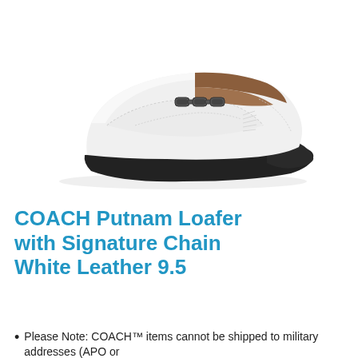[Figure (photo): White leather COACH Putnam loafer with signature dark metal chain bit detail on the vamp, moccasin toe stitching, and dark rubber/leather sole, photographed on a white background.]
COACH Putnam Loafer with Signature Chain White Leather 9.5
Please Note: COACH™ items cannot be shipped to military addresses (APO or